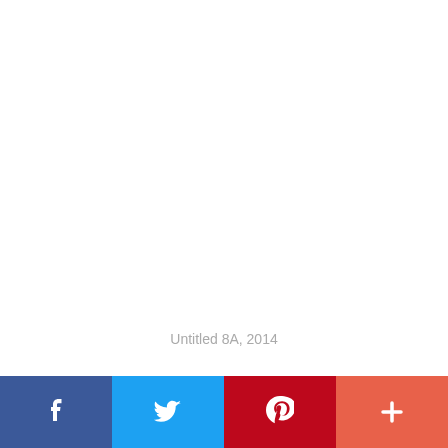Untitled 8A, 2014
[Figure (other): Social share button bar with Facebook (blue), Twitter (light blue), Pinterest (red), and a plus/more button (coral/orange-red)]